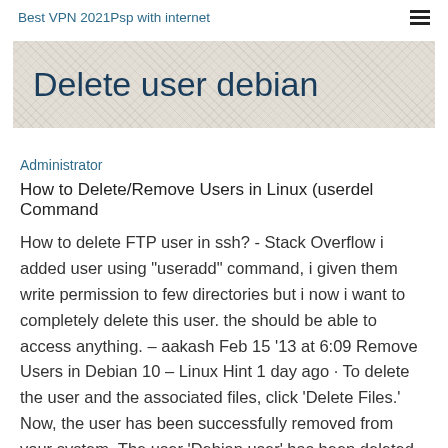Best VPN 2021Psp with internet
Delete user debian
Administrator
How to Delete/Remove Users in Linux (userdel Command
How to delete FTP user in ssh? - Stack Overflow i added user using "useradd" command, i given them write permission to few directories but i now i want to completely delete this user. the should be able to access anything. – aakash Feb 15 '13 at 6:09 Remove Users in Debian 10 – Linux Hint 1 day ago · To delete the user and the associated files, click 'Delete Files.' Now, the user has been successfully removed from your system. The user 'Debian user' has been deleted, as you can